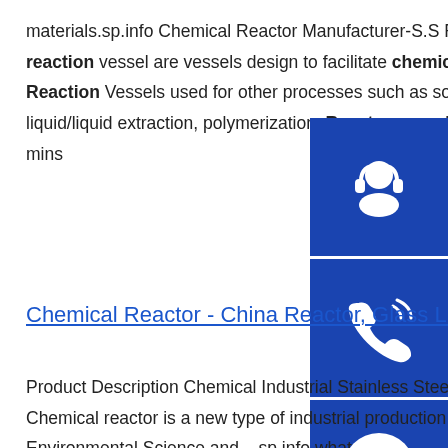materials.sp.info Chemical Reactor Manufacturer-S.S Reactor-Jacketed Vessel ...A chemical reactor or reaction vessel are vessels design to facilitate chemical reaction among raw chemicals, known as reactants. Reaction Vessels used for other processes such as solids dissolution, mixing, distillation, crystallization, liquid/liquid extraction, polymerization. Reactors are also identified based on ...Estimated Reading Time: 2 mins
[Figure (illustration): Three blue square buttons on the right side: a headset/customer service icon, a phone icon, and a Skype icon]
Chemical Reactor - China Reactor, Glass Lined Reactor ...
Product Description Chemical Industrial Stainless Steel High Pressure Mixing jacket Reactor With Agitator Chemical reactor is a new type of industrial production equipment, ... Favorites Shandong Qinglei Environmental Science and ...sp.info what